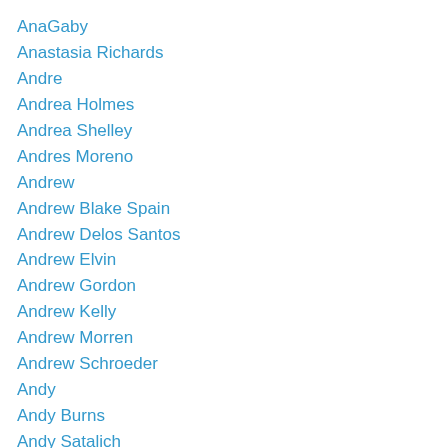AnaGaby
Anastasia Richards
Andre
Andrea Holmes
Andrea Shelley
Andres Moreno
Andrew
Andrew Blake Spain
Andrew Delos Santos
Andrew Elvin
Andrew Gordon
Andrew Kelly
Andrew Morren
Andrew Schroeder
Andy
Andy Burns
Andy Satalich
Ange Eely
Angel